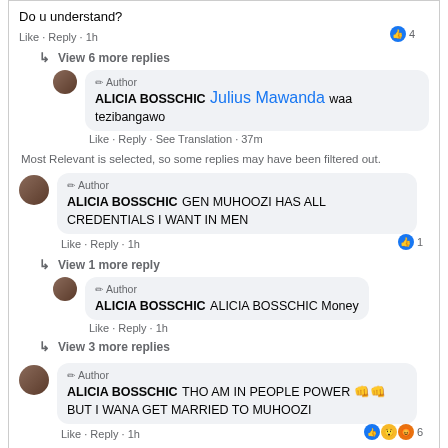Do u understand?
Like · Reply · 1h  👍 4
↳ View 6 more replies
✏ Author
ALICIA BOSSCHIC Julius Mawanda waa tezibangawo
Like · Reply · See Translation · 37m
Most Relevant is selected, so some replies may have been filtered out.
✏ Author
ALICIA BOSSCHIC GEN MUHOOZI HAS ALL CREDENTIALS I WANT IN MEN
Like · Reply · 1h  👍 1
↳ View 1 more reply
✏ Author
ALICIA BOSSCHIC ALICIA BOSSCHIC Money
Like · Reply · 1h
↳ View 3 more replies
✏ Author
ALICIA BOSSCHIC THO AM IN PEOPLE POWER 👊👊 BUT I WANA GET MARRIED TO MUHOOZI
Like · Reply · 1h  👍😲😡 6
Alicia tended to be among us when listening. She had a...